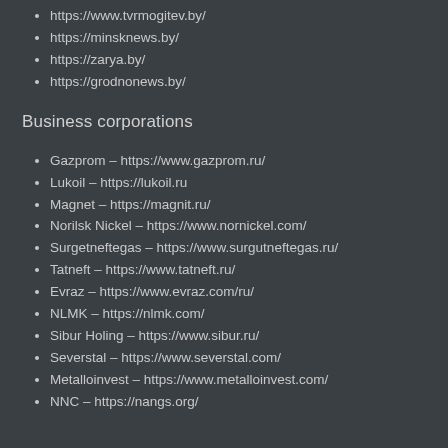https://www.tvrmogitev.by/
https://minsknews.by/
https://zarya.by/
https://grodnonews.by/
Business corporations
Gazprom – https://www.gazprom.ru/
Lukoil – https://lukoil.ru
Magnet – https://magnit.ru/
Norilsk Nickel – https://www.nornickel.com/
Surgetneftegas – https://www.surgutneftegas.ru/
Tatneft – https://www.tatneft.ru/
Evraz – https://www.evraz.com/ru/
NLMK – https://nlmk.com/
Sibur Holing – https://www.sibur.ru/
Severstal – https://www.severstal.com/
Metalloinvest – https://www.metalloinvest.com/
NNC – https://nangs.org/